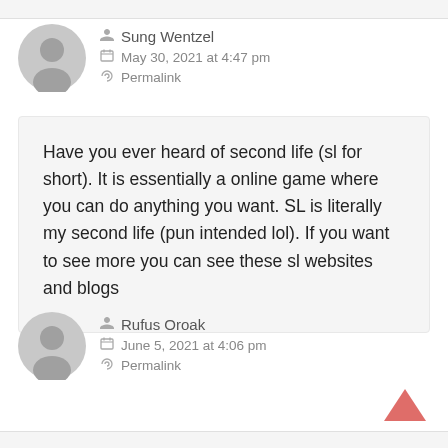Sung Wentzel
May 30, 2021 at 4:47 pm
Permalink
Have you ever heard of second life (sl for short). It is essentially a online game where you can do anything you want. SL is literally my second life (pun intended lol). If you want to see more you can see these sl websites and blogs
Rufus Oroak
June 5, 2021 at 4:06 pm
Permalink